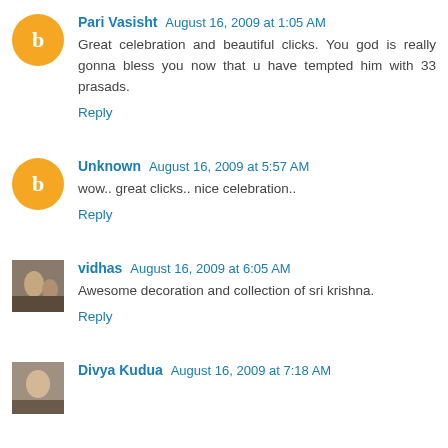Pari Vasisht August 16, 2009 at 1:05 AM
Great celebration and beautiful clicks. You god is really gonna bless you now that u have tempted him with 33 prasads.
Reply
Unknown August 16, 2009 at 5:57 AM
wow.. great clicks.. nice celebration..
Reply
vidhas August 16, 2009 at 6:05 AM
Awesome decoration and collection of sri krishna.
Reply
Divya Kudua August 16, 2009 at 7:18 AM